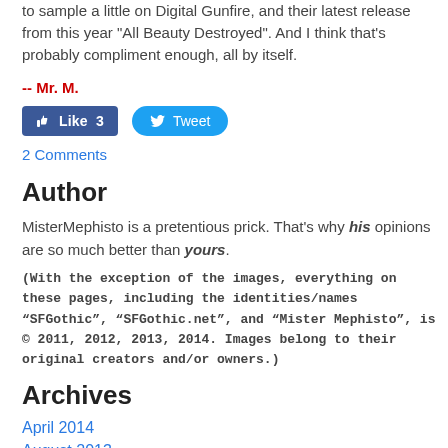to sample a little on Digital Gunfire, and their latest release from this year "All Beauty Destroyed". And I think that's probably compliment enough, all by itself.
-- Mr. M.
[Figure (infographic): Facebook Like button showing 3 likes and Twitter Tweet button]
2 Comments
Author
MisterMephisto is a pretentious prick. That's why his opinions are so much better than yours.
(With the exception of the images, everything on these pages, including the identities/names “SFGothic”, “SFGothic.net”, and “Mister Mephisto”, is © 2011, 2012, 2013, 2014. Images belong to their original creators and/or owners.)
Archives
April 2014
August 2013
July 2013